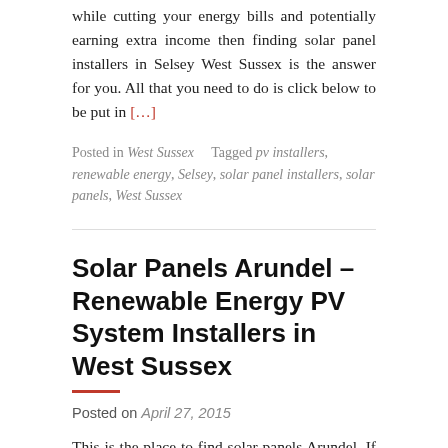while cutting your energy bills and potentially earning extra income then finding solar panel installers in Selsey West Sussex is the answer for you. All that you need to do is click below to be put in [...]
Posted in West Sussex   Tagged pv installers, renewable energy, Selsey, solar panel installers, solar panels, West Sussex
Solar Panels Arundel – Renewable Energy PV System Installers in West Sussex
Posted on April 27, 2015
This is the place to find solar panels Arundel. If you're looking for renewable energy to help the environment while cutting your energy bills and potentially earning extra income then finding solar panel installers in Arundel West Sussex is the answer for you. All that you need to do is click below to be put in [...]